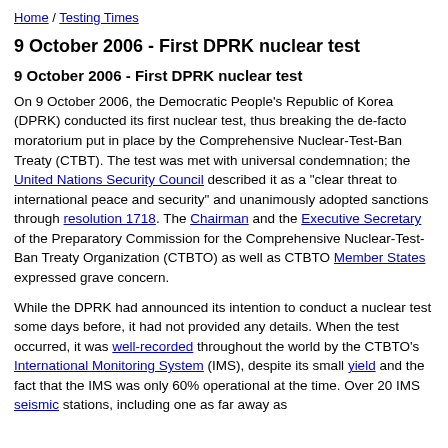Home / Testing Times
9 October 2006 - First DPRK nuclear test
9 October 2006 - First DPRK nuclear test
On 9 October 2006, the Democratic People's Republic of Korea (DPRK) conducted its first nuclear test, thus breaking the de-facto moratorium put in place by the Comprehensive Nuclear-Test-Ban Treaty (CTBT). The test was met with universal condemnation; the United Nations Security Council described it as a "clear threat to international peace and security" and unanimously adopted sanctions through resolution 1718. The Chairman and the Executive Secretary of the Preparatory Commission for the Comprehensive Nuclear-Test-Ban Treaty Organization (CTBTO) as well as CTBTO Member States expressed grave concern.
While the DPRK had announced its intention to conduct a nuclear test some days before, it had not provided any details. When the test occurred, it was well-recorded throughout the world by the CTBTO's International Monitoring System (IMS), despite its small yield and the fact that the IMS was only 60% operational at the time. Over 20 IMS seismic stations, including one as far away as